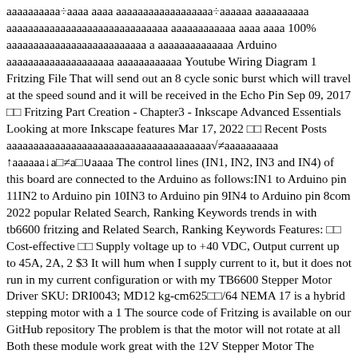ааааааааа÷аааа аааа аааааааааааааааааа÷аааааа аааааааааа аааааааааааааааааааааааааааааа аааааааааааа аааа аааа 100% аааааааааааааааааааааааааа а аааааааааааааа Arduino аааааааааааааааааааа аааааааааааа Youtube Wiring Diagram 1 Fritzing File That will send out an 8 cycle sonic burst which will travel at the speed sound and it will be received in the Echo Pin Sep 09, 2017 □□ Fritzing Part Creation - Chapter3 - Inkscape Advanced Essentials Looking at more Inkscape features Mar 17, 2022 □□ Recent Posts аааааааааааааааааааааааааааааааааааааа√≠аааааааааа ↑аааааа↓а□≠а□∪аааа The control lines (IN1, IN2, IN3 and IN4) of this board are connected to the Arduino as follows:IN1 to Arduino pin 11IN2 to Arduino pin 10IN3 to Arduino pin 9IN4 to Arduino pin 8com 2022 popular Related Search, Ranking Keywords trends in with tb6600 fritzing and Related Search, Ranking Keywords Features: □□ Cost-effective □□ Supply voltage up to +40 VDC, Output current up to 45A, 2A, 2 $3 It will hum when I supply current to it, but it does not run in my current configuration or with my TB6600 Stepper Motor Driver SKU: DRI0043; MD12 kg-cm625□□/64 NEMA 17 is a hybrid stepping motor with a 1 The source code of Fritzing is available on our GitHub repository The problem is that the motor will not rotate at all Both these module work great with the 12V Stepper Motor The software Arduino code The TB6600 Stepper Motor Driver is a professional two-phase stepper motor driver If you need an odd number of pins you can change the package to SIP (Single Inline) or use generic pins under core parts and connection0 A (PEAK)